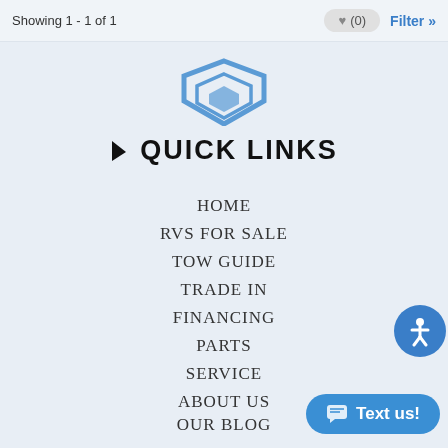Showing 1 - 1 of 1
[Figure (logo): Blue chevron/shield logo partially visible at top center]
QUICK LINKS
HOME
RVS FOR SALE
TOW GUIDE
TRADE IN
FINANCING
PARTS
SERVICE
ABOUT US
OUR BLOG
CONTACT US
DIRECTIONS